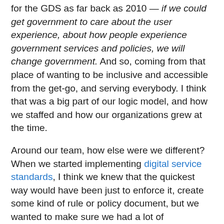for the GDS as far back as 2010 — if we could get government to care about the user experience, about how people experience government services and policies, we will change government. And so, coming from that place of wanting to be inclusive and accessible from the get-go, and serving everybody. I think that was a big part of our logic model, and how we staffed and how our organizations grew at the time.
Around our team, how else were we different? When we started implementing digital service standards, I think we knew that the quickest way would have been just to enforce it, create some kind of rule or policy document, but we wanted to make sure we had a lot of institutional supports in place. We also took our own medicine and did the user research on our own standards.